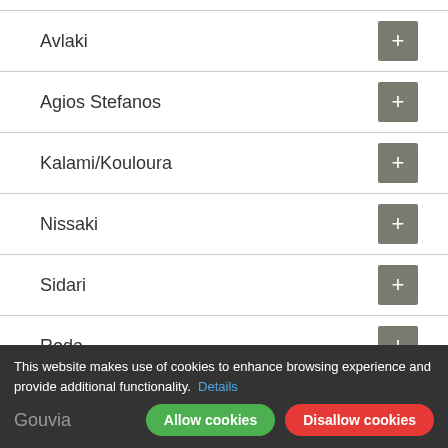Avlaki
Agios Stefanos
Kalami/Kouloura
Nissaki
Sidari
Roda
Paleokastritsa
Gouvia
This website makes use of cookies to enhance browsing experience and provide additional functionality. Details
Allow cookies | Disallow cookies